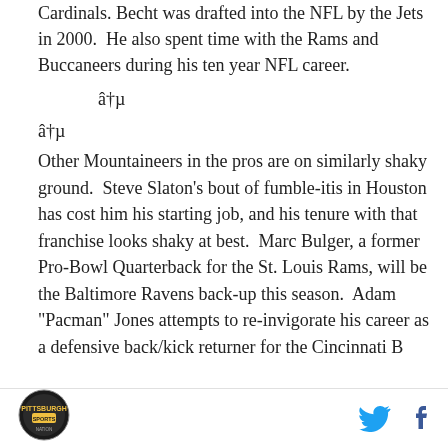Cardinals. Becht was drafted into the NFL by the Jets in 2000.  He also spent time with the Rams and Buccaneers during his ten year NFL career.
â†µ
â†µ
Other Mountaineers in the pros are on similarly shaky ground.  Steve Slaton's bout of fumble-itis in Houston has cost him his starting job, and his tenure with that franchise looks shaky at best.  Marc Bulger, a former Pro-Bowl Quarterback for the St. Louis Rams, will be the Baltimore Ravens back-up this season.  Adam "Pacman" Jones attempts to re-invigorate his career as a defensive back/kick returner for the Cincinnati B...
Pittsburgh logo | Twitter | Facebook